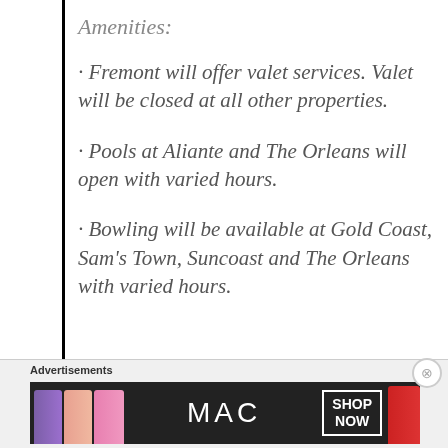Amenities:
· Fremont will offer valet services. Valet will be closed at all other properties.
· Pools at Aliante and The Orleans will open with varied hours.
· Bowling will be available at Gold Coast, Sam's Town, Suncoast and The Orleans with varied hours.
[Figure (advertisement): MAC Cosmetics advertisement banner with lipsticks and SHOP NOW button]
Advertisements